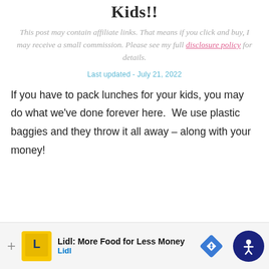Kids!!
This post may contain affiliate links. That means if you click and buy, I may receive a small commission. Please see my full disclosure policy for details.
Last updated - July 21, 2022
If you have to pack lunches for your kids, you may do what we’ve done forever here.  We use plastic baggies and they throw it all away – along with your money!
[Figure (other): Advertisement banner for Lidl: More Food for Less Money with Lidl logo and navigation icons]